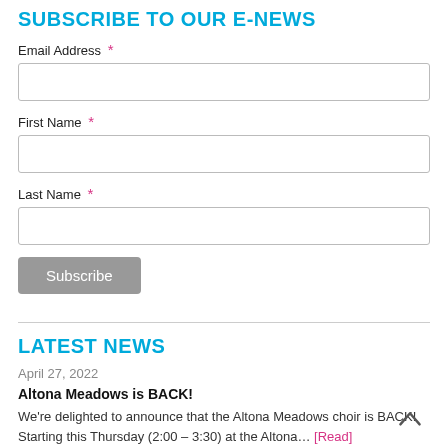SUBSCRIBE TO OUR E-NEWS
Email Address *
First Name *
Last Name *
Subscribe
LATEST NEWS
April 27, 2022
Altona Meadows is BACK!
We're delighted to announce that the Altona Meadows choir is BACK! Starting this Thursday (2:00 – 3:30) at the Altona… [Read]